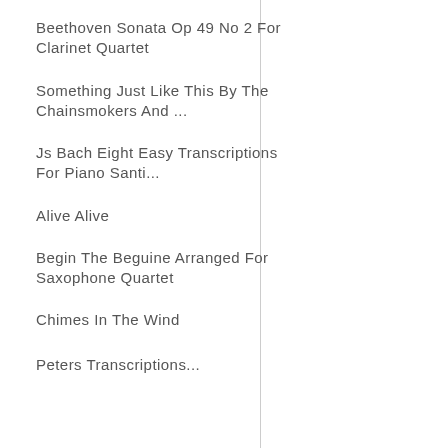Beethoven Sonata Op 49 No 2 For Clarinet Quartet
Something Just Like This By The Chainsmokers And ...
Js Bach Eight Easy Transcriptions For Piano Santi...
Alive Alive
Begin The Beguine Arranged For Saxophone Quartet
Chimes In The Wind
Peters Transcriptions...